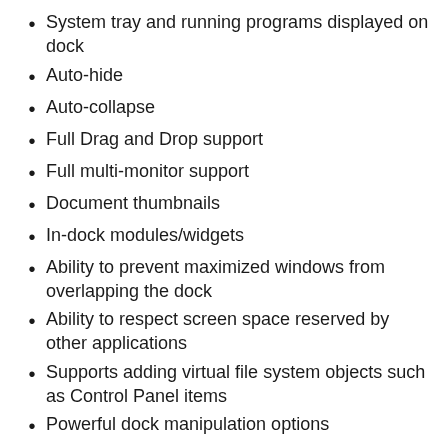System tray and running programs displayed on dock
Auto-hide
Auto-collapse
Full Drag and Drop support
Full multi-monitor support
Document thumbnails
In-dock modules/widgets
Ability to prevent maximized windows from overlapping the dock
Ability to respect screen space reserved by other applications
Supports adding virtual file system objects such as Control Panel items
Powerful dock manipulation options
Keyboard navigation
PNG and TIF file Support
Special FX
Complete customization